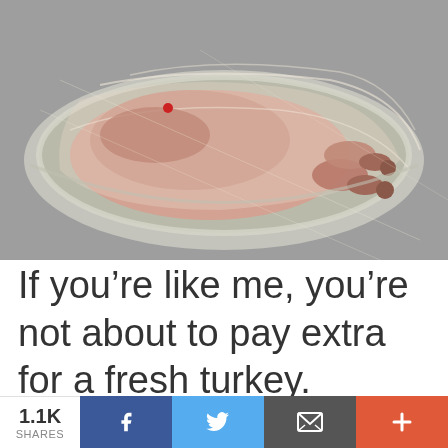[Figure (photo): Raw turkey wrapped in plastic on a foil roasting pan, photographed from above on a gray surface]
If you’re like me, you’re not about to pay extra for a fresh turkey.
1.1K SHARES